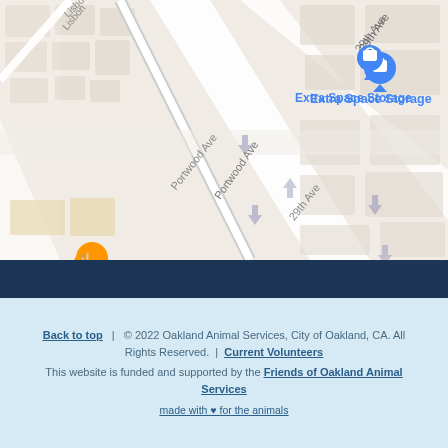[Figure (map): Google Maps screenshot showing street map of Oakland, CA neighborhood near 29th Ave and Portwood Ave. Visible landmarks include Extra Space Storage (blue pin), Laundromat (gray pin), FoodMaxx (blue text), Shell gas station (blue fuel icon), and an orange restaurant pin (partially cropped). Streets visible: Lisbon (top left), 29th Ave, Portwood Ave, and 29th Ave (bottom). Map has light gray/white color scheme with street grid.]
Back to top | © 2022 Oakland Animal Services, City of Oakland, CA. All Rights Reserved. | Current Volunteers
This website is funded and supported by the Friends of Oakland Animal Services
made with ♥ for the animals